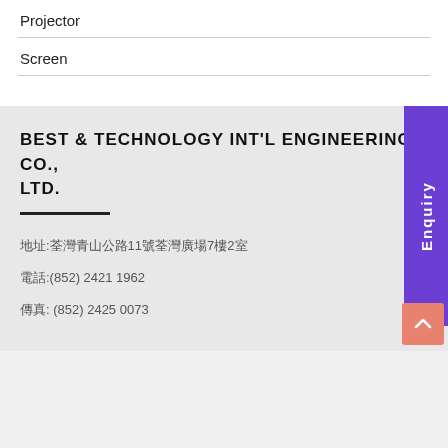Projector
Screen
BEST & TECHNOLOGY INT'L ENGINEERING CO., LTD.
地址:荃灣青山公路11號荃灣廣場7樓2室
電話:(852) 2421 1962
傳真: (852) 2425 0073